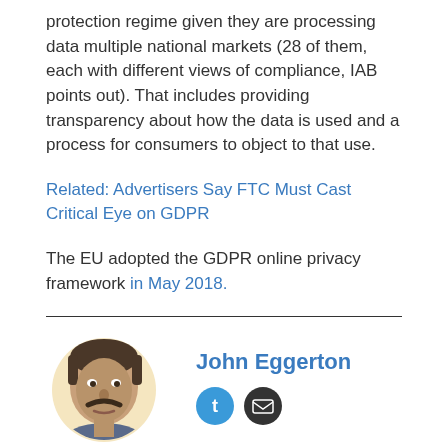protection regime given they are processing data multiple national markets (28 of them, each with different views of compliance, IAB points out). That includes providing transparency about how the data is used and a process for consumers to object to that use.
Related: Advertisers Say FTC Must Cast Critical Eye on GDPR
The EU adopted the GDPR online privacy framework in May 2018.
[Figure (photo): Author headshot of John Eggerton — a man with dark hair and mustache, shown in a circular crop with a light yellow background]
John Eggerton